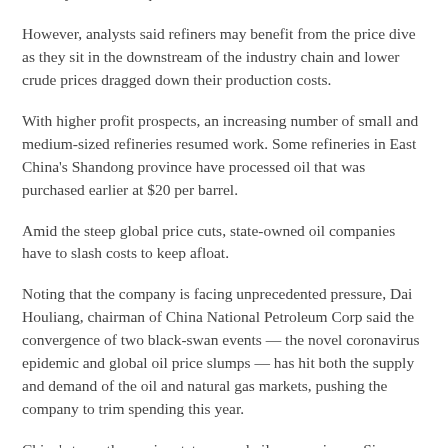industry in the first quarter.
However, analysts said refiners may benefit from the price dive as they sit in the downstream of the industry chain and lower crude prices dragged down their production costs.
With higher profit prospects, an increasing number of small and medium-sized refineries resumed work. Some refineries in East China's Shandong province have processed oil that was purchased earlier at $20 per barrel.
Amid the steep global price cuts, state-owned oil companies have to slash costs to keep afloat.
Noting that the company is facing unprecedented pressure, Dai Houliang, chairman of China National Petroleum Corp said the convergence of two black-swan events — the novel coronavirus epidemic and global oil price slumps — has hit both the supply and demand of the oil and natural gas markets, pushing the company to trim spending this year.
China's two other major state-owned oil companies — Sinopec Group and China National Offshore Oil Corporation